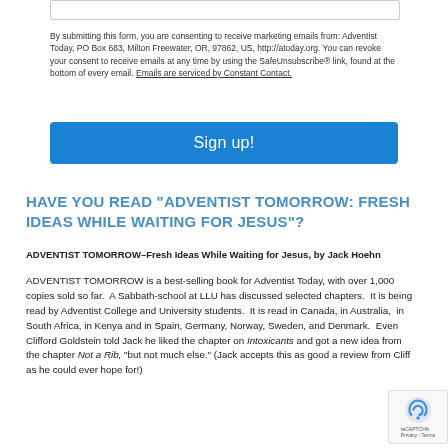By submitting this form, you are consenting to receive marketing emails from: Adventist Today, PO Box 683, Milton Freewater, OR, 97862, US, http://atoday.org. You can revoke your consent to receive emails at any time by using the SafeUnsubscribe® link, found at the bottom of every email. Emails are serviced by Constant Contact.
Sign up!
HAVE YOU READ "ADVENTIST TOMORROW: FRESH IDEAS WHILE WAITING FOR JESUS"?
ADVENTIST TOMORROW–Fresh Ideas While Waiting for Jesus, by Jack Hoehn
ADVENTIST TOMORROW is a best-selling book for Adventist Today, with over 1,000 copies sold so far. A Sabbath-school at LLU has discussed selected chapters. It is being read by Adventist College and University students. It is read in Canada, in Australia, in South Africa, in Kenya and in Spain, Germany, Norway, Sweden, and Denmark. Even Clifford Goldstein told Jack he liked the chapter on Intoxicants and got a new idea from the chapter Not a Rib, "but not much else." (Jack accepts this as good a review from Cliff as he could ever hope for!)